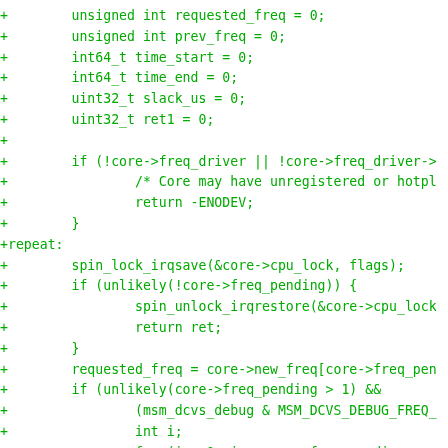+        unsigned int requested_freq = 0;
+        unsigned int prev_freq = 0;
+        int64_t time_start = 0;
+        int64_t time_end = 0;
+        uint32_t slack_us = 0;
+        uint32_t ret1 = 0;
+
+        if (!core->freq_driver || !core->freq_driver->
+                /* Core may have unregistered or hotpl
+                return -ENODEV;
+        }
+repeat:
+        spin_lock_irqsave(&core->cpu_lock, flags);
+        if (unlikely(!core->freq_pending)) {
+                spin_unlock_irqrestore(&core->cpu_lock
+                return ret;
+        }
+        requested_freq = core->new_freq[core->freq_pen
+        if (unlikely(core->freq_pending > 1) &&
+                (msm_dcvs_debug & MSM_DCVS_DEBUG_FREQ_
+                int i;
+                for (i = 0; i < core->freq_pending -